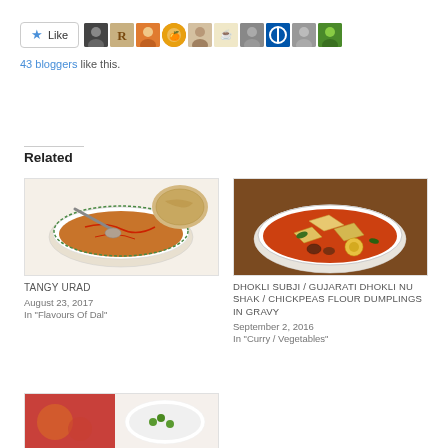[Figure (screenshot): Like button with star icon followed by a row of blogger avatar thumbnails]
43 bloggers like this.
Related
[Figure (photo): Bowl of Tangy Urad dal curry with spoon and flatbread]
TANGY URAD
August 23, 2017
In "Flavours Of Dal"
[Figure (photo): Bowl of Dhokli Subji - Gujarati chickpeas flour dumplings in tomato gravy]
DHOKLI SUBJI / GUJARATI DHOKLI NU SHAK / CHICKPEAS FLOUR DUMPLINGS IN GRAVY
September 2, 2016
In "Curry / Vegetables"
[Figure (photo): Partial view of a third related food dish card at the bottom]